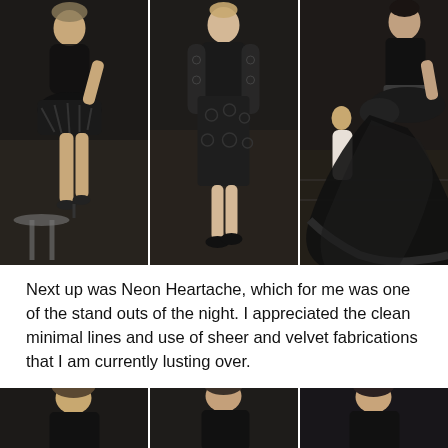[Figure (photo): Three-panel fashion show photo: models wearing black dresses on a runway. Left panel shows a model in a short black feathered/lace dress with high heels. Middle panel shows a model in a black velvet and lace long-sleeve dress. Right panel shows a model in a dramatic black gown with a long flowing train and ruffled details, with audience visible in background.]
Next up was Neon Heartache, which for me was one of the stand outs of the night. I appreciated the clean minimal lines and use of sheer and velvet fabrications that I am currently lusting over.
[Figure (photo): Three-panel photo at the bottom of the page showing three models in black outfits, partially cropped, at what appears to be the same fashion event.]